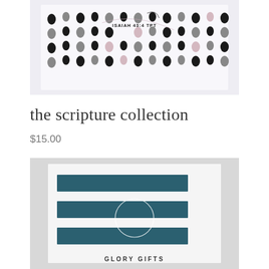[Figure (photo): Product photo of a white box/cup with black, grey and pink dot pattern design and text 'ISAIAH 43:4 TPT' visible on front, set against light grey/purple background]
the scripture collection
$15.00
[Figure (photo): Product photo of a white box with teal/navy blue horizontal stripe pattern and a circular Glory Gifts logo, showing 'GLORY GIFTS' text at bottom, set against light grey background]